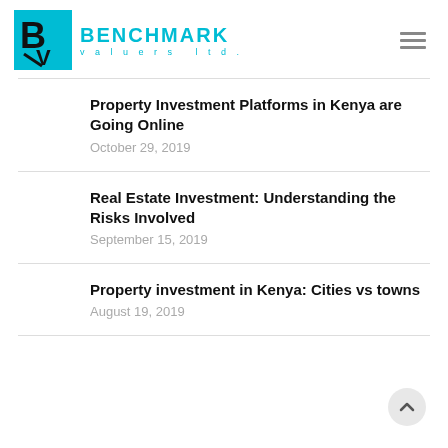Benchmark Valuers Ltd.
Property Investment Platforms in Kenya are Going Online
October 29, 2019
Real Estate Investment: Understanding the Risks Involved
September 15, 2019
Property investment in Kenya: Cities vs towns
August 19, 2019